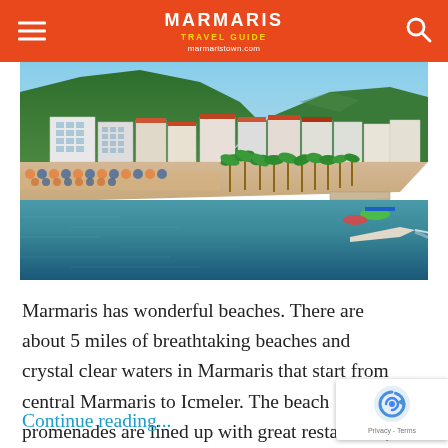MARMARIS TRAVEL GUIDE marmaristown.com
[Figure (photo): Aerial view of Marmaris beach resort showing hotels, beach, palm trees, and turquoise sea water with mountains in background]
Marmaris has wonderful beaches. There are about 5 miles of breathtaking beaches and crystal clear waters in Marmaris that start from central Marmaris to Icmeler. The beach promenades are lined up with great restaurants, cafes and ba...
Continue reading...